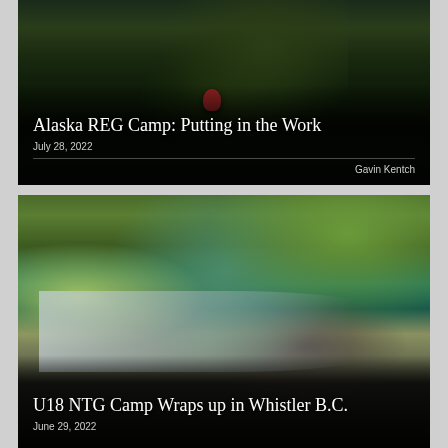[Figure (photo): Dark trail running photo showing person's legs on a path surrounded by tall grass and dark foliage]
Alaska REG Camp: Putting in the Work
July 28, 2022
Gavin Kentch
[Figure (photo): Group photo of young athletes posing by a rushing river with dense green forest in the background, Whistler B.C.]
U18 NTG Camp Wraps up in Whistler B.C.
June 29, 2022